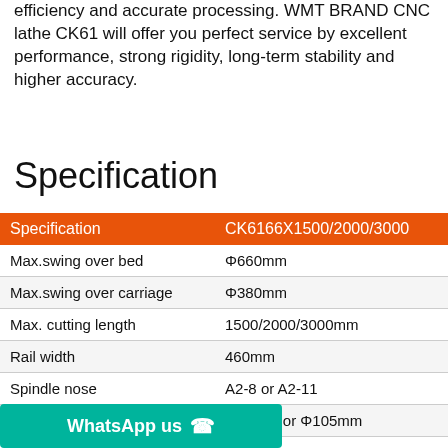efficiency and accurate processing. WMT BRAND CNC lathe CK61 will offer you perfect service by excellent performance, strong rigidity, long-term stability and higher accuracy.
Specification
| Specification | CK6166X1500/2000/3000 |
| --- | --- |
| Max.swing over bed | Φ660mm |
| Max.swing over carriage | Φ380mm |
| Max. cutting length | 1500/2000/3000mm |
| Rail width | 460mm |
| Spindle nose | A2-8 or A2-11 |
| Spindle bore | Φ86mm or Φ105mm |
| Taper of spindle bore | Φ90mm 1:20 or Φ110mm 1:... |
| Chuck size | 15″ |
| Range of spindle speed | 100-1600 or 3 steps:30-150...1200rpm |